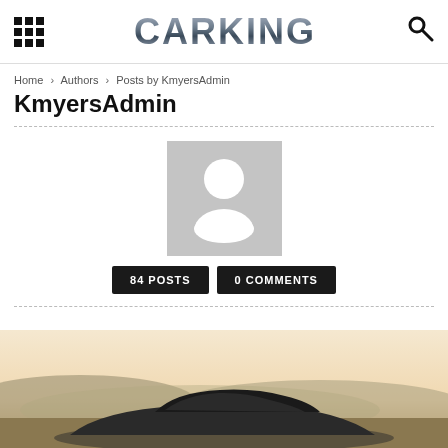CARKING
Home › Authors › Posts by KmyersAdmin
KmyersAdmin
[Figure (photo): Default user avatar placeholder — grey square with white person silhouette]
84 POSTS   0 COMMENTS
[Figure (photo): Bottom portion of page showing a car outdoors with warm sunset lighting, hills in background]